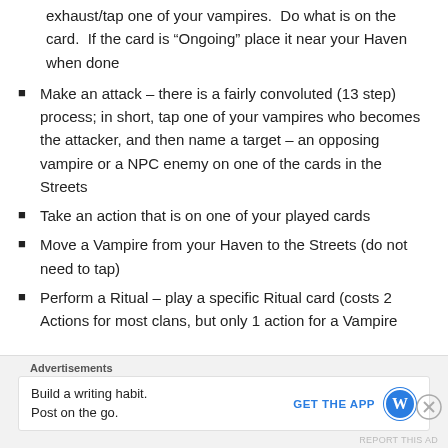exhaust/tap one of your vampires.  Do what is on the card.  If the card is “Ongoing” place it near your Haven when done
Make an attack – there is a fairly convoluted (13 step) process; in short, tap one of your vampires who becomes the attacker, and then name a target – an opposing vampire or a NPC enemy on one of the cards in the Streets
Take an action that is on one of your played cards
Move a Vampire from your Haven to the Streets (do not need to tap)
Perform a Ritual – play a specific Ritual card (costs 2 Actions for most clans, but only 1 action for a Vampire
Advertisements
Build a writing habit. Post on the go.
GET THE APP